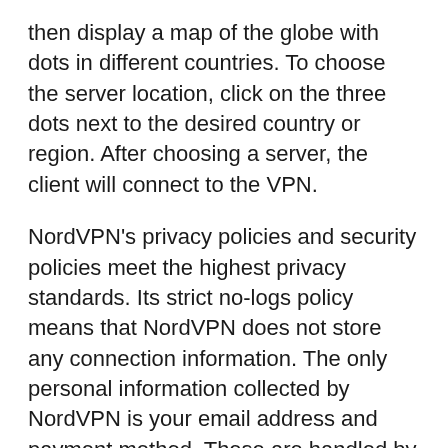then display a map of the globe with dots in different countries. To choose the server location, click on the three dots next to the desired country or region. After choosing a server, the client will connect to the VPN.
NordVPN's privacy policies and security policies meet the highest privacy standards. Its strict no-logs policy means that NordVPN does not store any connection information. The only personal information collected by NordVPN is your email address and payment method. These are handled by a third-party. Without your consent, the company will not log your browsing history or any other information. This policy is important for users who use NordVPN.